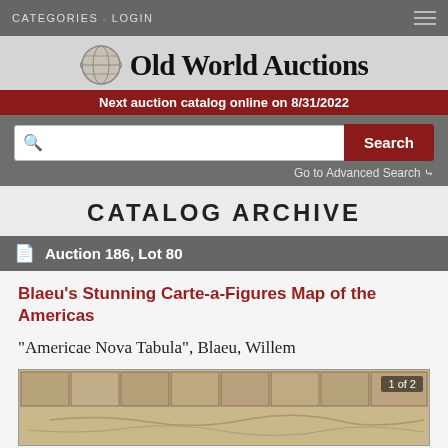CATEGORIES  LOGIN
[Figure (logo): Old World Auctions logo with globe icon and serif text]
Next auction catalog online on 8/31/2022
Search | Go to Advanced Search
CATALOG ARCHIVE
Auction 186, Lot 80
Blaeu's Stunning Carte-a-Figures Map of the Americas
"Americae Nova Tabula", Blaeu, Willem
[Figure (photo): Partial view of antique map Americae Nova Tabula by Blaeu, Willem. Shows 1 of 2 image indicator.]